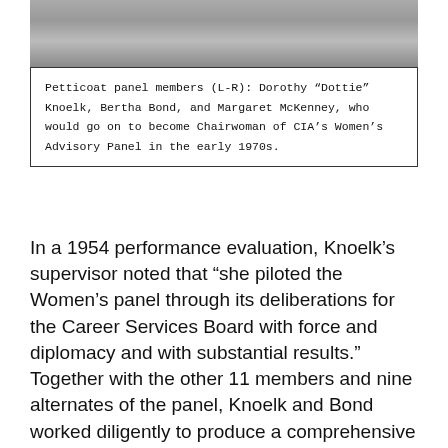[Figure (photo): Black and white photograph of Petticoat panel members (L-R): Dorothy 'Dottie' Knoelk, Bertha Bond, and Margaret McKenney]
Petticoat panel members (L-R): Dorothy “Dottie” Knoelk, Bertha Bond, and Margaret McKenney, who would go on to become Chairwoman of CIA’s Women’s Advisory Panel in the early 1970s.
In a 1954 performance evaluation, Knoelk’s supervisor noted that “she piloted the Women’s panel through its deliberations for the Career Services Board with force and diplomacy and with substantial results.” Together with the other 11 members and nine alternates of the panel, Knoelk and Bond worked diligently to produce a comprehensive and well-researched report for members of the Career Services Board (CSB).